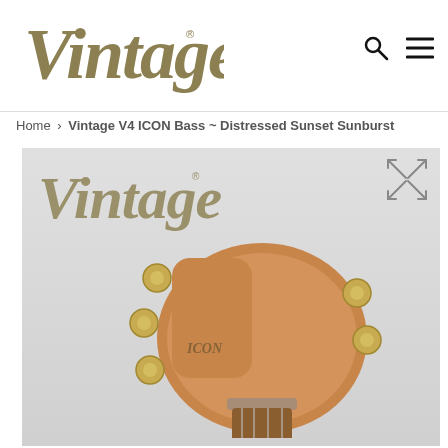[Figure (logo): Vintage guitars brand logo in olive/khaki cursive script with registered trademark symbol]
[Figure (other): Search icon (magnifying glass) and hamburger menu icon in the top navigation bar]
Home › Vintage V4 ICON Bass ~ Distressed Sunset Sunburst
[Figure (photo): Product photo of Vintage V4 ICON Bass guitar headstock showing tuning pegs and Vintage logo overlay, against light grey background. Expand/fullscreen icon in top right corner.]